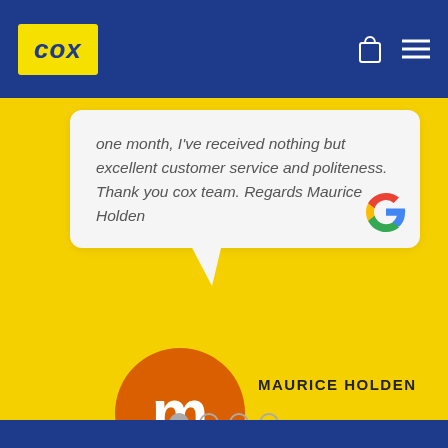COX
one month, I've received nothing but excellent customer service and politeness. Thank you cox team. Regards Maurice Holden
[Figure (logo): Google 'G' logo in red, yellow, green, blue colors]
[Figure (illustration): Orange circle avatar with lowercase white letter 'm']
MAURICE HOLDEN